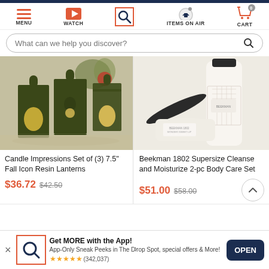MENU | WATCH | SEARCH | ITEMS ON AIR | CART
What can we help you discover?
[Figure (photo): Photo of three dark green metal lanterns with glowing flameless candles inside, displayed on a table with fall decorations]
[Figure (photo): Photo of Beekman 1802 body care products: a large bottle and a round jar with lid off, on white background]
Candle Impressions Set of (3) 7.5" Fall Icon Resin Lanterns
$36.72 $42.50
Beekman 1802 Supersize Cleanse and Moisturize 2-pc Body Care Set
$51.00 $58.00
Get MORE with the App! App-Only Sneak Peeks in The Drop Spot, special offers & More! ★★★★★ (342,037)